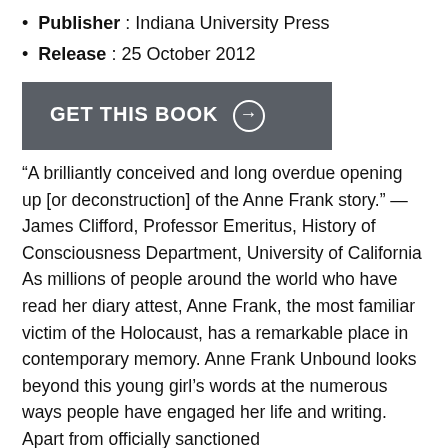Publisher : Indiana University Press
Release : 25 October 2012
[Figure (other): GET THIS BOOK button with arrow icon, dark grey background]
“A brilliantly conceived and long overdue opening up [or deconstruction] of the Anne Frank story.” —James Clifford, Professor Emeritus, History of Consciousness Department, University of California As millions of people around the world who have read her diary attest, Anne Frank, the most familiar victim of the Holocaust, has a remarkable place in contemporary memory. Anne Frank Unbound looks beyond this young girl’s words at the numerous ways people have engaged her life and writing. Apart from officially sanctioned